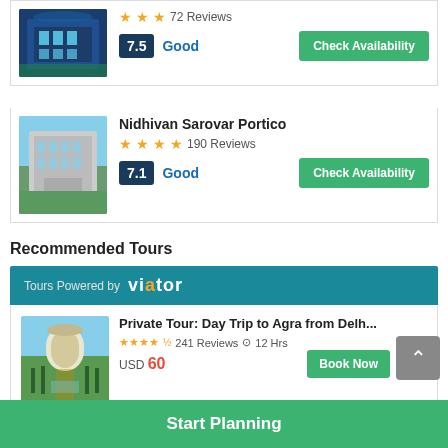[Figure (photo): Hotel exterior with blue tinted glass building and green lighting]
★★★ 72 Reviews
7.5 Good
Check Availability
Nidhivan Sarovar Portico
★★★★★ 190 Reviews
7.1 Good
Check Availability
Recommended Tours
Tours Powered by viator
[Figure (photo): Taj Mahal with reflecting pool and gardens]
Private Tour: Day Trip to Agra from Delh...
★★★★½ 241 Reviews ⊙ 12 Hrs
USD 60
Book Now
Start Planning